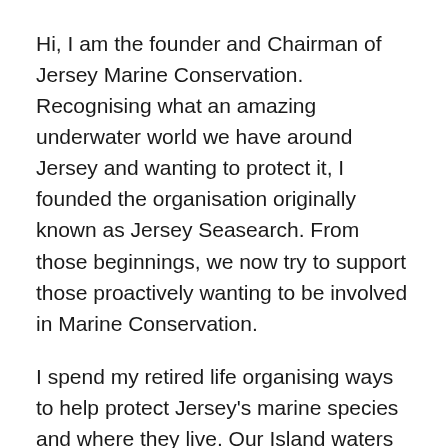Hi, I am the founder and Chairman of Jersey Marine Conservation. Recognising what an amazing underwater world we have around Jersey and wanting to protect it, I founded the organisation originally known as Jersey Seasearch. From those beginnings, we now try to support those proactively wanting to be involved in Marine Conservation.
I spend my retired life organising ways to help protect Jersey's marine species and where they live. Our Island waters may appear idyllic but the truth lies beneath the blue shimmering surface where areas once rich in species are under ever increasing threat from over fishing, various types of pollution and over use by our boating community in some areas.
I have a great team of divers, scientists, conservationists